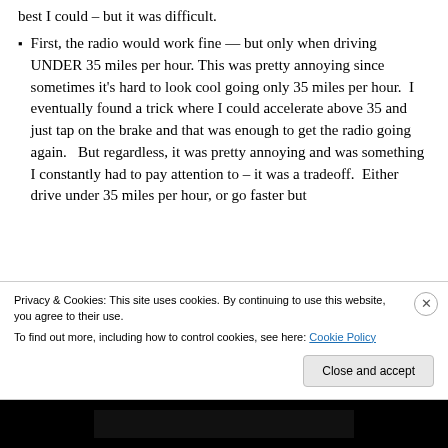best I could – but it was difficult.
First, the radio would work fine — but only when driving UNDER 35 miles per hour. This was pretty annoying since sometimes it's hard to look cool going only 35 miles per hour.  I eventually found a trick where I could accelerate above 35 and just tap on the brake and that was enough to get the radio going again.   But regardless, it was pretty annoying and was something I constantly had to pay attention to – it was a tradeoff.  Either drive under 35 miles per hour, or go faster but
Privacy & Cookies: This site uses cookies. By continuing to use this website, you agree to their use.
To find out more, including how to control cookies, see here: Cookie Policy
Close and accept